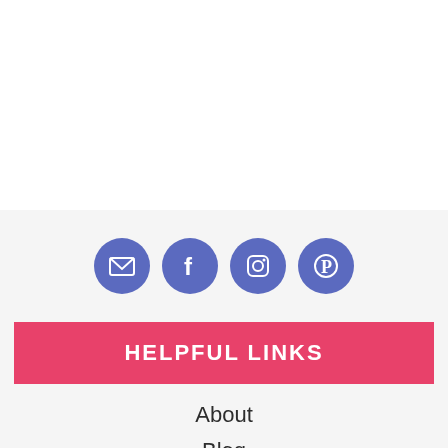[Figure (illustration): Four social media icon circles (email, Facebook, Instagram, Pinterest) in purple/blue color on a light gray background]
HELPFUL LINKS
About
Blog